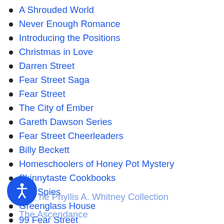A Shrouded World
Never Enough Romance
Introducing the Positions
Christmas in Love
Darren Street
Fear Street Saga
Fear Street
The City of Ember
Gareth Dawson Series
Fear Street Cheerleaders
Billy Beckett
Homeschoolers of Honey Pot Mystery
Skinnytaste Cookbooks
City Spies
Greenglass House
99 Fear Street
The Phyllis A. Whitney Collection
The Ascendance